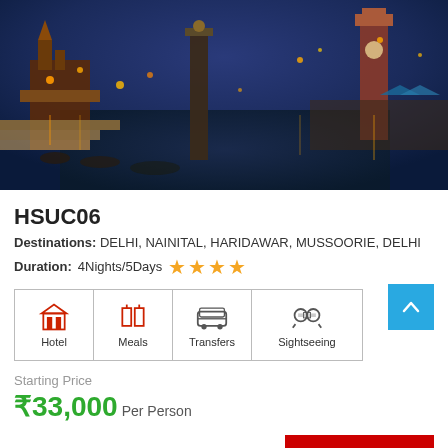[Figure (photo): Night view of Haridwar ghat with illuminated temples, clock tower, crowds of people, and the Ganges river reflecting lights]
HSUC06
Destinations: DELHI, NAINITAL, HARIDAWAR, MUSSOORIE, DELHI
Duration:4Nights/5Days ★★★★
[Figure (infographic): Four service icons: Hotel, Meals, Transfers, Sightseeing]
Starting Price
₹33,000 Per Person
View Details »
Get Free Quotes